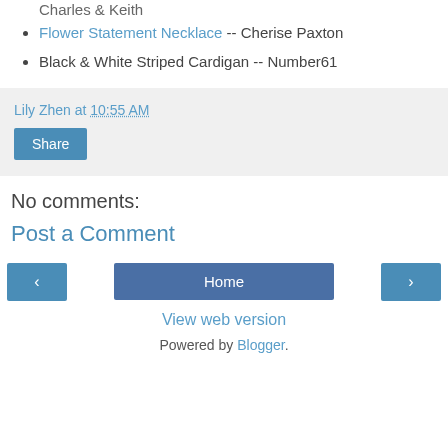Charles & Keith
Flower Statement Necklace -- Cherise Paxton
Black & White Striped Cardigan -- Number61
Lily Zhen at 10:55 AM
Share
No comments:
Post a Comment
Home
View web version
Powered by Blogger.